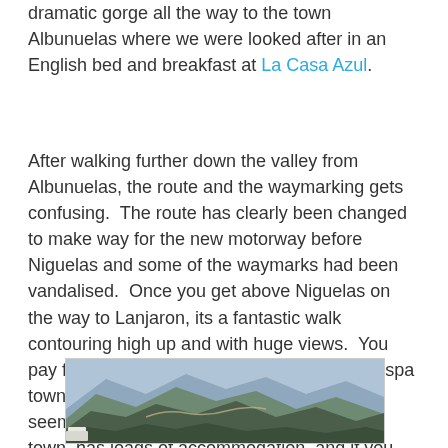dramatic gorge all the way to the town Albunuelas where we were looked after in an English bed and breakfast at La Casa Azul.
After walking further down the valley from Albunuelas, the route and the waymarking gets confusing.  The route has clearly been changed to make way for the new motorway before Niguelas and some of the waymarks had been vandalised.  Once you get above Niguelas on the way to Lanjaron, its a fantastic walk contouring high up and with huge views.  You pay for it of course and the walk down to the spa town, past sulphurous springs, is steep and seems to take forever.  Lanjaron is a holiday town, has loads of accommodation, and if you have even less time than we did, the starting point for a shorter walk in the Alpujarras.  We met up with Juan at Lanjaron.
[Figure (photo): Mountain gorge landscape photograph showing dramatic rocky mountain ridges and valley with winding road visible, taken from an elevated vantage point]